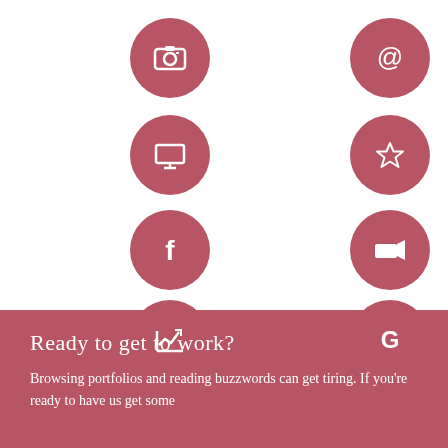[Figure (illustration): Eight circular rose-colored icon buttons arranged in a 2-column grid: row 1: camera/portfolio icon, @ symbol; row 2: monitor/screen icon, star icon; row 3: Facebook 'f' icon, video camera icon; row 4: trend/analytics chart icon, Google 'G' icon]
Ready to get to work?
Browsing portfolios and reading buzzwords can get tiring. If you're ready to have us get some